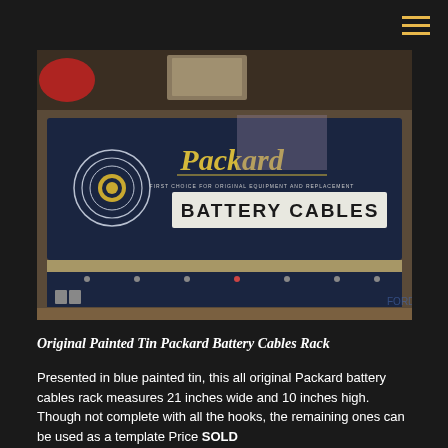≡
[Figure (photo): Photo of an original painted tin Packard Battery Cables rack with navy blue background, yellow Packard script logo, and 'BATTERY CABLES' text in bold. The rack is displayed in what appears to be a vintage shop with various items visible in the background.]
Original Painted Tin Packard Battery Cables Rack
Presented in blue painted tin, this all original Packard battery cables rack measures 21 inches wide and 10 inches high. Though not complete with all the hooks, the remaining ones can be used as a template Price SOLD